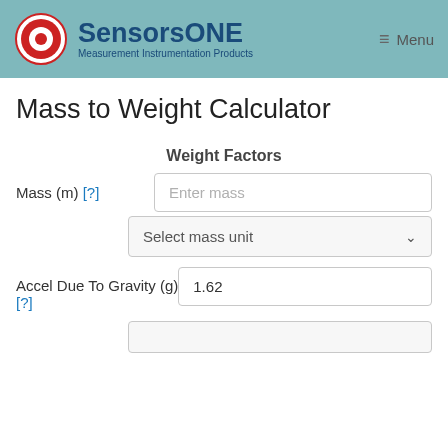SensorsONE Measurement Instrumentation Products | Menu
Mass to Weight Calculator
Weight Factors
Mass (m) [?]
Enter mass
Select mass unit
Accel Due To Gravity (g) [?]
1.62